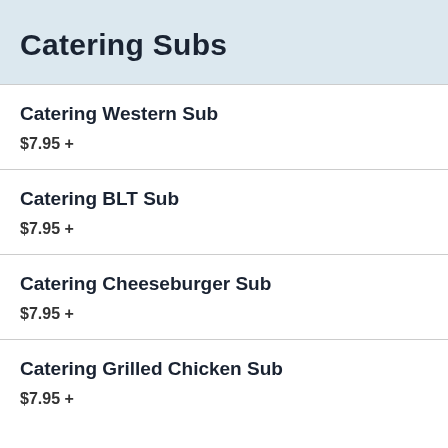Catering Subs
Catering Western Sub
$7.95 +
Catering BLT Sub
$7.95 +
Catering Cheeseburger Sub
$7.95 +
Catering Grilled Chicken Sub
$7.95 +